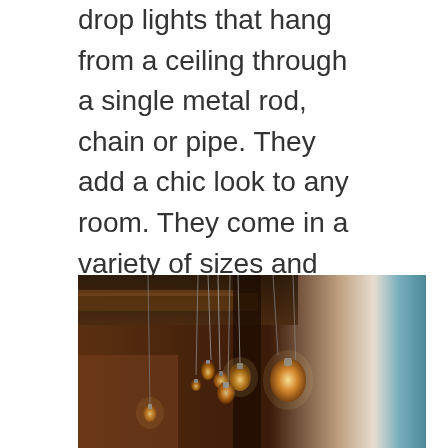drop lights that hang from a ceiling through a single metal rod, chain or pipe. They add a chic look to any room. They come in a variety of sizes and vary in material, i.e., concrete, plastic, glass or metal. They are usually used in a cluster (of two or three). Pendant lights are energy saving models that require less voltage and use either fluorescent, LED or halogen bulbs. Pendant lights can be dimmed as per convenience.
[Figure (photo): Photograph of multiple pendant light bulbs of various shapes hanging from thin cords attached to a ceiling with exposed wooden beams and brick walls in a warm, dimly lit interior space.]